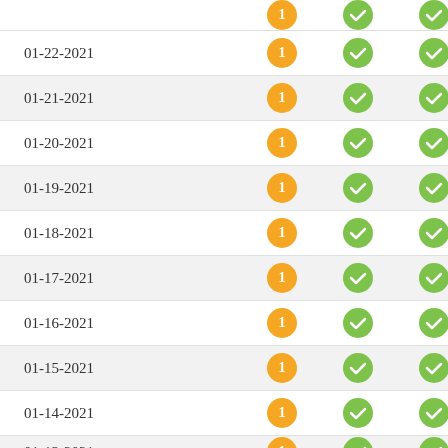| Date | Count | Check1 | Check2 |
| --- | --- | --- | --- |
| (partial top row) | 1 | ✓ | ✓ |
| 01-22-2021 | 1 | ✓ | ✓ |
| 01-21-2021 | 1 | ✓ | ✓ |
| 01-20-2021 | 1 | ✓ | ✓ |
| 01-19-2021 | 1 | ✓ | ✓ |
| 01-18-2021 | 1 | ✓ | ✓ |
| 01-17-2021 | 1 | ✓ | ✓ |
| 01-16-2021 | 1 | ✓ | ✓ |
| 01-15-2021 | 1 | ✓ | ✓ |
| 01-14-2021 | 1 | ✓ | ✓ |
| 01-13-2021 | 1 | ✓ | ✓ |